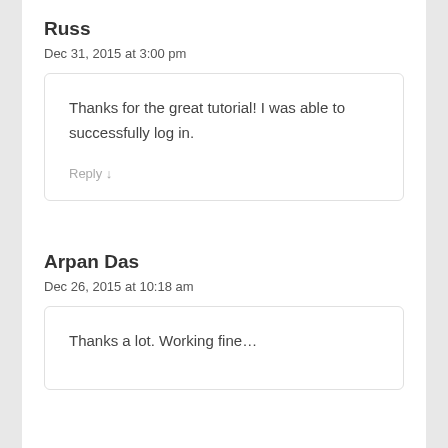Russ
Dec 31, 2015 at 3:00 pm
Thanks for the great tutorial! I was able to successfully log in.
Reply
Arpan Das
Dec 26, 2015 at 10:18 am
Thanks a lot. Working fine…